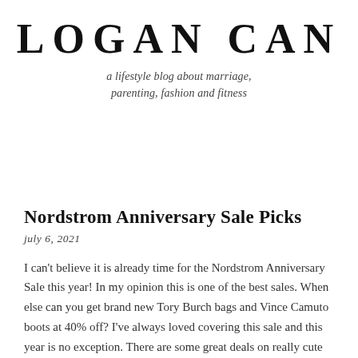LOGAN CAN
a lifestyle blog about marriage, parenting, fashion and fitness
Nordstrom Anniversary Sale Picks
july 6, 2021
I can't believe it is already time for the Nordstrom Anniversary Sale this year! In my opinion this is one of the best sales. When else can you get brand new Tory Burch bags and Vince Camuto boots at 40% off? I've always loved covering this sale and this year is no exception. There are some great deals on really cute fall outfits and booties! Below, I've rounded up my